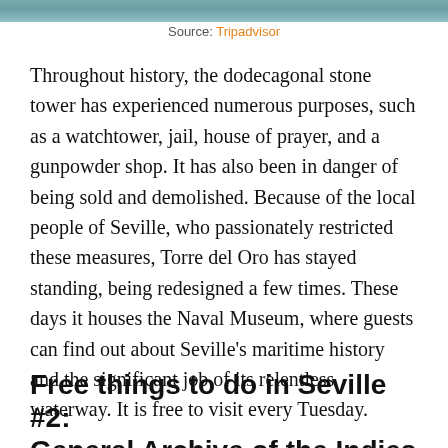[Figure (photo): Top strip of a photo showing water/river scene]
Source: Tripadvisor
Throughout history, the dodecagonal stone tower has experienced numerous purposes, such as a watchtower, jail, house of prayer, and a gunpowder shop. It has also been in danger of being sold and demolished. Because of the local people of Seville, who passionately restricted these measures, Torre del Oro has stayed standing, being redesigned a few times. These days it houses the Naval Museum, where guests can find out about Seville's maritime history and the significant job of its relentless waterway. It is free to visit every Tuesday.
Free things to do in Seville #2: General Archive of the Indies